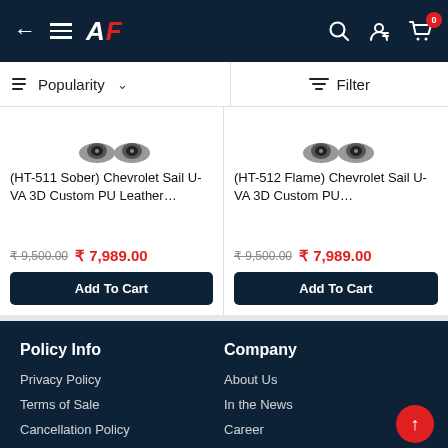AF store header navigation with back arrow, menu, logo, search, account, and cart (0 items)
Popularity | Filter
(HT-511 Sober) Chevrolet Sail U-VA 3D Custom PU Leather... ₹9,500.00 ₹7,989.00
(HT-512 Flame) Chevrolet Sail U-VA 3D Custom PU... ₹9,500.00 ₹7,989.00
Policy Info
Privacy Policy
Terms of Sale
Cancellation Policy
Return Policy
Company
About Us
In the News
Career
Blog